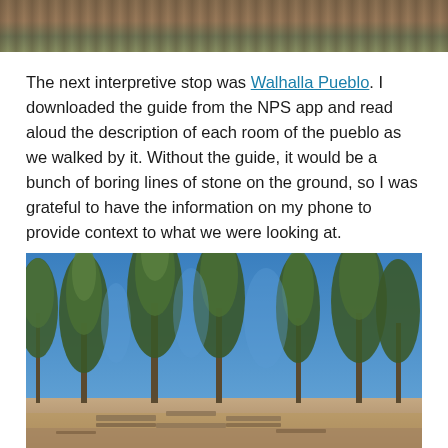[Figure (photo): Top portion of a photo showing wooden logs/beams texture with some green foliage visible — cropped at top of page]
The next interpretive stop was Walhalla Pueblo. I downloaded the guide from the NPS app and read aloud the description of each room of the pueblo as we walked by it. Without the guide, it would be a bunch of boring lines of stone on the ground, so I was grateful to have the information on my phone to provide context to what we were looking at.
[Figure (photo): Outdoor photo of Walhalla Pueblo site showing tall ponderosa pine trees on a clear blue sky day, with low stone ruins of the pueblo visible on the ground in the foreground]